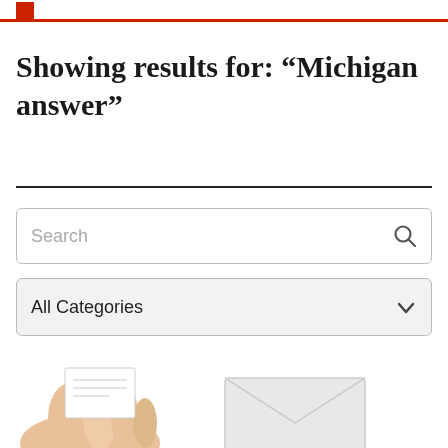Showing results for: “Michigan answer”
[Figure (screenshot): Search input box with placeholder text 'Search' and a magnifying glass icon on the right]
[Figure (screenshot): Dropdown selector showing 'All Categories' with a chevron/arrow icon on the right, light gray background]
[Figure (photo): Partial photo at bottom of page showing a hand holding what appears to be a ballot or paper, and an envelope, cropped at the bottom edge]